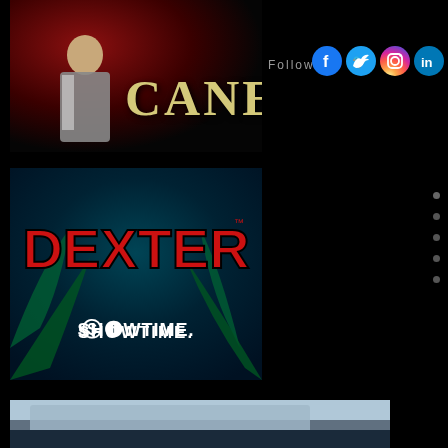[Figure (photo): TV show poster for 'Cane' featuring a man in a suit with the title 'CANE' in yellow/gold letters on a dark red background]
Follow
[Figure (logo): Social media icons: Facebook, Twitter, Instagram, LinkedIn]
[Figure (photo): TV show poster for 'Dexter' on Showtime, featuring the show title in large red letters and Showtime logo, with dark teal palm frond background]
[Figure (photo): Partial view of a third TV show or building image at the bottom, appears to be a blue/grey architectural photo]